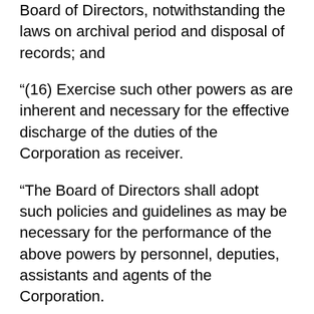Board of Directors, notwithstanding the laws on archival period and disposal of records; and
“(16) Exercise such other powers as are inherent and necessary for the effective discharge of the duties of the Corporation as receiver.
“The Board of Directors shall adopt such policies and guidelines as may be necessary for the performance of the above powers by personnel, deputies, assistants and agents of the Corporation.
“(c) After the payment of all liabilities and claims against the closed bank, the Corporation shall pay surplus, if any, dividends at the legal rate of interest from date of takeover to date of distribution to creditors and